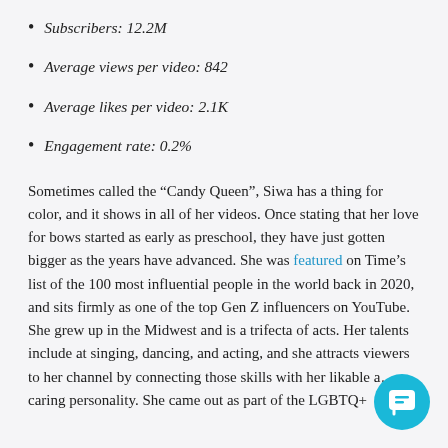Subscribers: 12.2M
Average views per video: 842
Average likes per video: 2.1K
Engagement rate: 0.2%
Sometimes called the “Candy Queen”, Siwa has a thing for color, and it shows in all of her videos. Once stating that her love for bows started as early as preschool, they have just gotten bigger as the years have advanced. She was featured on Time’s list of the 100 most influential people in the world back in 2020, and sits firmly as one of the top Gen Z influencers on YouTube. She grew up in the Midwest and is a trifecta of acts. Her talents include at singing, dancing, and she attracts viewers to her channel by connecting those skills with her likable and caring personality. She came out as part of the LGBTQ+